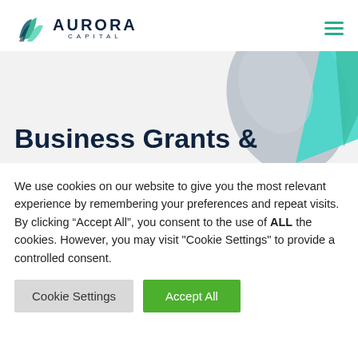[Figure (logo): Aurora Capital logo with stylized green/teal leaf icon and dark navy text reading AURORA CAPITAL]
[Figure (illustration): Hero banner with light gray background and abstract 3D shapes in gray and teal/cyan on the right side]
Business Grants &
We use cookies on our website to give you the most relevant experience by remembering your preferences and repeat visits. By clicking “Accept All”, you consent to the use of ALL the cookies. However, you may visit "Cookie Settings" to provide a controlled consent.
Cookie Settings | Accept All